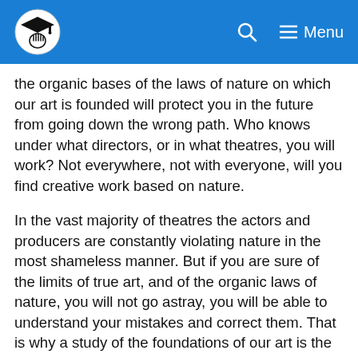Menu
the organic bases of the laws of nature on which our art is founded will protect you in the future from going down the wrong path. Who knows under what directors, or in what theatres, you will work? Not everywhere, not with everyone, will you find creative work based on nature.
In the vast majority of theatres the actors and producers are constantly violating nature in the most shameless manner. But if you are sure of the limits of true art, and of the organic laws of nature, you will not go astray, you will be able to understand your mistakes and correct them. That is why a study of the foundations of our art is the beginning of the work of every student